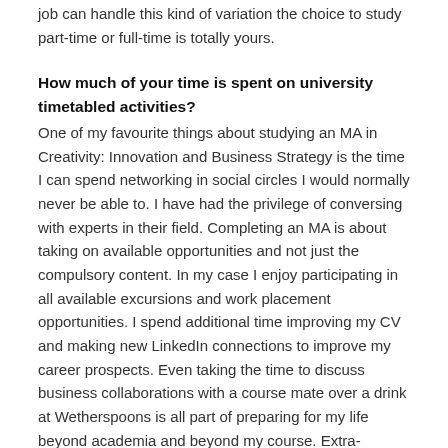job can handle this kind of variation the choice to study part-time or full-time is totally yours.
How much of your time is spent on university timetabled activities?
One of my favourite things about studying an MA in Creativity: Innovation and Business Strategy is the time I can spend networking in social circles I would normally never be able to. I have had the privilege of conversing with experts in their field. Completing an MA is about taking on available opportunities and not just the compulsory content. In my case I enjoy participating in all available excursions and work placement opportunities. I spend additional time improving my CV and making new LinkedIn connections to improve my career prospects. Even taking the time to discuss business collaborations with a course mate over a drink at Wetherspoons is all part of preparing for my life beyond academia and beyond my course. Extra-curricular attendance needs to be embraced with a greater enthusiasm in further study. Considering this when deciding how to divide your time is